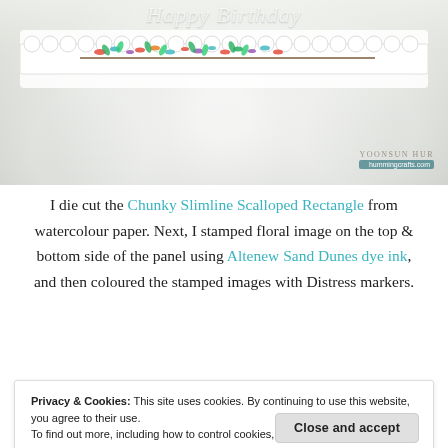[Figure (photo): Close-up photo of a crafted card with a floral decorated scalloped rectangle strip on a white doily background. Watermark reads YOONSUN HUR and hummingcrafts.com in bottom right.]
I die cut the Chunky Slimline Scalloped Rectangle from watercolour paper. Next, I stamped floral image on the top & bottom side of the panel using Altenew Sand Dunes dye ink, and then coloured the stamped images with Distress markers.
[Figure (photo): Partial photo of another crafted card with colorful floral elements, partially obscured by the cookie consent bar.]
Privacy & Cookies: This site uses cookies. By continuing to use this website, you agree to their use.
To find out more, including how to control cookies, see here: Cookie Policy
Close and accept